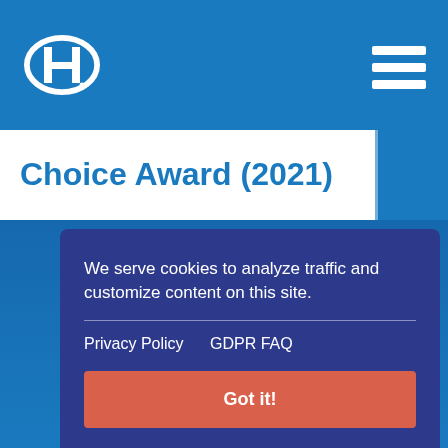[Figure (logo): Hilton hotel logo in oval shape, white 'H' on blue background]
[Figure (other): Hamburger/menu icon with three white horizontal bars]
Choice Award (2021)
[Figure (other): Left and right navigation arrow buttons on blue background]
We serve cookies to analyze traffic and customize content on this site.
Privacy Policy    GDPR FAQ
Got it!